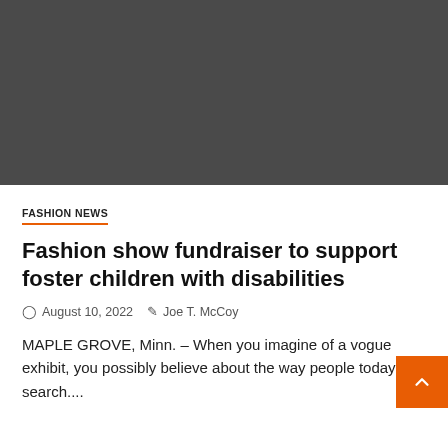[Figure (photo): Dark gray rectangular image placeholder at the top of the article page]
FASHION NEWS
Fashion show fundraiser to support foster children with disabilities
August 10, 2022   Joe T. McCoy
MAPLE GROVE, Minn. – When you imagine of a vogue exhibit, you possibly believe about the way people today search....